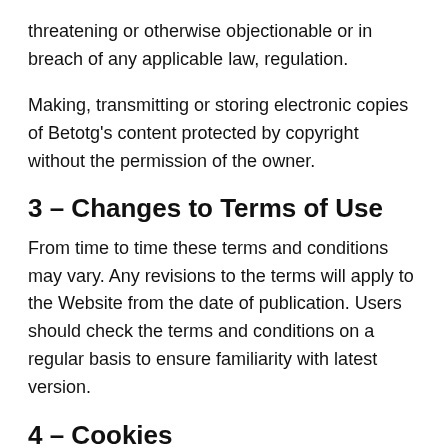threatening or otherwise objectionable or in breach of any applicable law, regulation.
Making, transmitting or storing electronic copies of Betotg's content protected by copyright without the permission of the owner.
3 – Changes to Terms of Use
From time to time these terms and conditions may vary. Any revisions to the terms will apply to the Website from the date of publication. Users should check the terms and conditions on a regular basis to ensure familiarity with latest version.
4 – Cookies
Our Cookies Policy can be found here.